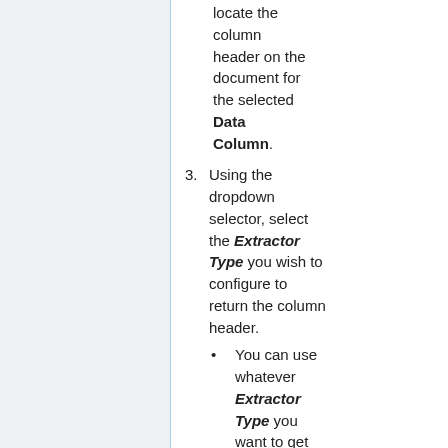locate the column header on the document for the selected Data Column.
3. Using the dropdown selector, select the Extractor Type you wish to configure to return the column header.
You can use whatever Extractor Type you want to get